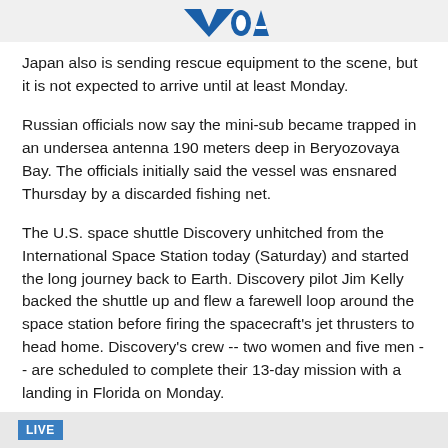VOA
Japan also is sending rescue equipment to the scene, but it is not expected to arrive until at least Monday.
Russian officials now say the mini-sub became trapped in an undersea antenna 190 meters deep in Beryozovaya Bay. The officials initially said the vessel was ensnared Thursday by a discarded fishing net.
The U.S. space shuttle Discovery unhitched from the International Space Station today (Saturday) and started the long journey back to Earth. Discovery pilot Jim Kelly backed the shuttle up and flew a farewell loop around the space station before firing the spacecraft's jet thrusters to head home. Discovery's crew -- two women and five men -- are scheduled to complete their 13-day mission with a landing in Florida on Monday.
LIVE